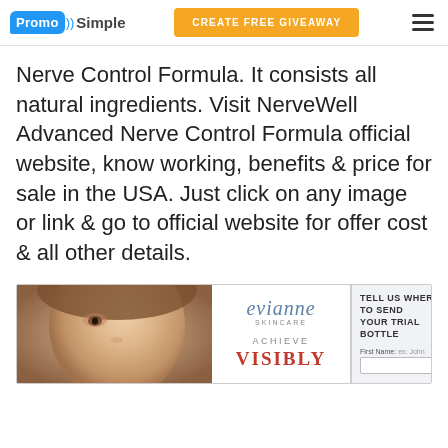PromoSimple | CREATE FREE GIVEAWAY
Nerve Control Formula. It consists all natural ingredients. Visit NerveWell Advanced Nerve Control Formula official website, know working, benefits & price for sale in the USA. Just click on any image or link & go to official website for offer cost & all other details.
[Figure (advertisement): Evianne Skincare advertisement banner showing a woman's face on the left, the Evianne Skincare brand name in the center with 'Achieve Visibly' tagline, and a 'Tell Us Where To Send Your Trial Bottle' form section on the right.]